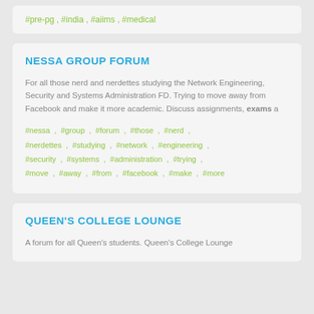#pre-pg , #india , #aiims , #medical
NESSA GROUP FORUM
For all those nerd and nerdettes studying the Network Engineering, Security and Systems Administration FD. Trying to move away from Facebook and make it more academic. Discuss assignments, exams a
#nessa , #group , #forum , #those , #nerd , #nerdettes , #studying , #network , #engineering , #security , #systems , #administration , #trying , #move , #away , #from , #facebook , #make , #more
QUEEN'S COLLEGE LOUNGE
A forum for all Queen's students. Queen's College Lounge